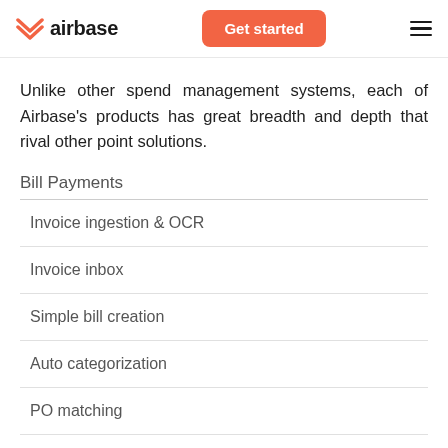airbase | Get started
Unlike other spend management systems, each of Airbase's products has great breadth and depth that rival other point solutions.
Bill Payments
Invoice ingestion & OCR
Invoice inbox
Simple bill creation
Auto categorization
PO matching
Payment scheduling